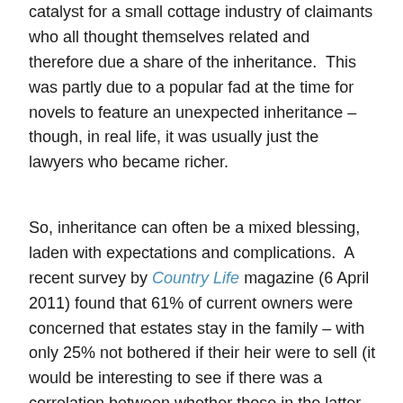catalyst for a small cottage industry of claimants who all thought themselves related and therefore due a share of the inheritance.  This was partly due to a popular fad at the time for novels to feature an unexpected inheritance – though, in real life, it was usually just the lawyers who became richer.
So, inheritance can often be a mixed blessing, laden with expectations and complications.  A recent survey by Country Life magazine (6 April 2011) found that 61% of current owners were concerned that estates stay in the family – with only 25% not bothered if their heir were to sell (it would be interesting to see if there was a correlation between whether those in the latter group were also those whose family had owned for the least time).  For some, it's particularly important to ensure that the family name is preserved. In the same Country Life article, David Fursdon,